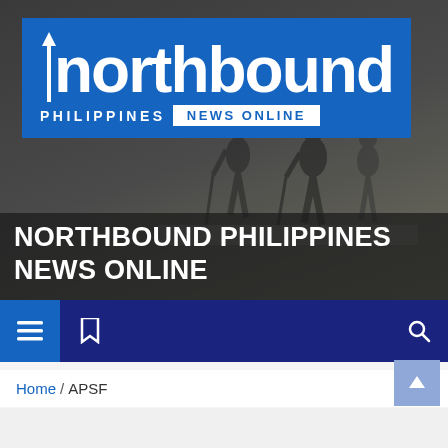[Figure (screenshot): Website header banner for Northbound Philippines News Online showing the logo on blue background and hikers silhouette in background]
NORTHBOUND PHILIPPINES NEWS ONLINE
[Figure (screenshot): Navigation bar with hamburger menu, bookmark icon, and search icon on dark navy background]
Home / APSF
[Figure (screenshot): Back to top button (blue square with up arrow icon)]